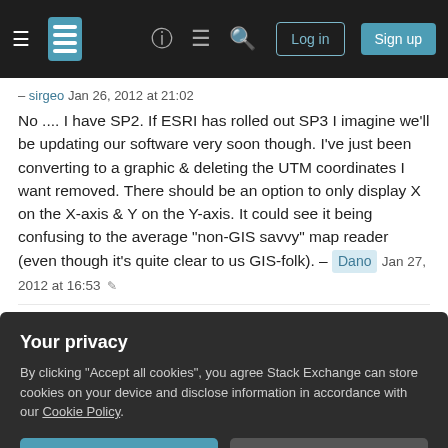Stack Exchange navigation bar with hamburger menu, logo, help, chat, search icons, Log in and Sign up buttons
– sirgeo Jan 26, 2012 at 21:02
No .... I have SP2. If ESRI has rolled out SP3 I imagine we'll be updating our software very soon though. I've just been converting to a graphic & deleting the UTM coordinates I want removed. There should be an option to only display X on the X-axis & Y on the Y-axis. It could see it being confusing to the average "non-GIS savvy" map reader (even though it's quite clear to us GIS-folk). – Dano Jan 27, 2012 at 16:53 ✏
Add a comment
Sorted by:
Your privacy
By clicking "Accept all cookies", you agree Stack Exchange can store cookies on your device and disclose information in accordance with our Cookie Policy.
Accept all cookies  Customize settings
an alternative approach might work for you though: